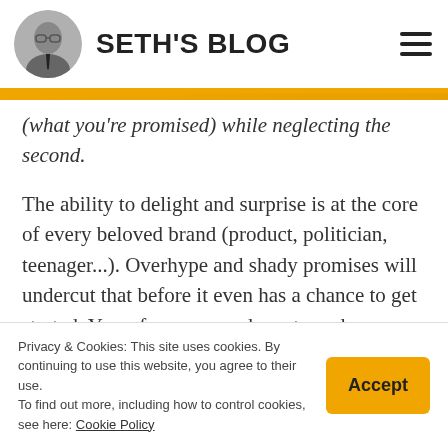SETH'S BLOG
(what you're promised) while neglecting the second.
The ability to delight and surprise is at the core of every beloved brand (product, politician, teenager...). Overhype and shady promises will undercut that before it even has a chance to get started. Yes, of course you have to make promises to earn attention and trial. The
Privacy & Cookies: This site uses cookies. By continuing to use this website, you agree to their use.
To find out more, including how to control cookies, see here: Cookie Policy